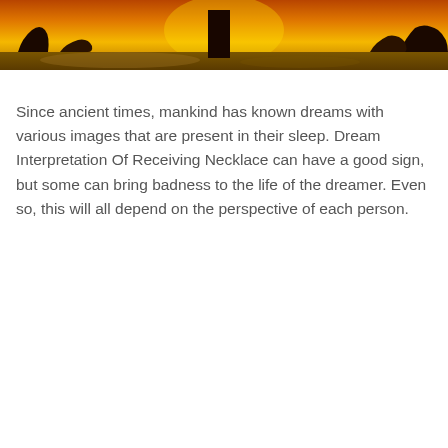[Figure (illustration): A warm orange and yellow sunset scene with dark silhouettes of figures and rock formations against a glowing sky.]
Since ancient times, mankind has known dreams with various images that are present in their sleep. Dream Interpretation Of Receiving Necklace can have a good sign, but some can bring badness to the life of the dreamer. Even so, this will all depend on the perspective of each person.